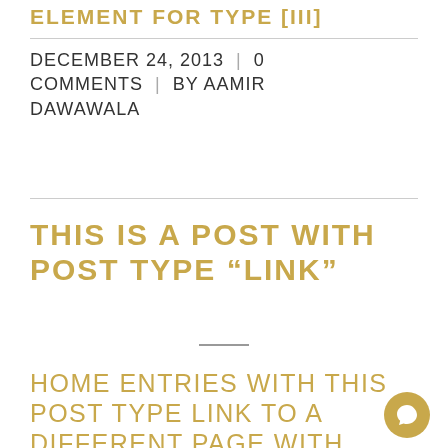ELEMENT FOR TYPE [III]
DECEMBER 24, 2013 | 0 COMMENTS | BY AAMIR DAWAWALA
THIS IS A POST WITH POST TYPE “LINK”
HOME ENTRIES WITH THIS POST TYPE LINK TO A DIFFERENT PAGE WITH THEIR HEADLINE. LOREM